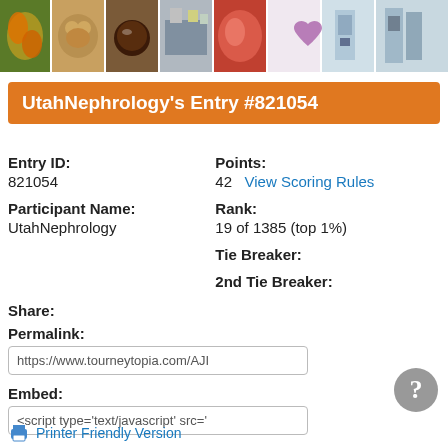[Figure (photo): Banner strip of 9 small thumbnail photos including butterfly, dog, coffee, street scene, food, heart shaped flowers, and medical equipment]
UtahNephrology's Entry #821054
Entry ID:
Points:
821054
42   View Scoring Rules
Participant Name:
Rank:
UtahNephrology
19 of 1385 (top 1%)
Tie Breaker:
2nd Tie Breaker:
Share:
Permalink:
https://www.tourneytopia.com/AJI
Embed:
<script type='text/javascript' src='
Printer Friendly Version